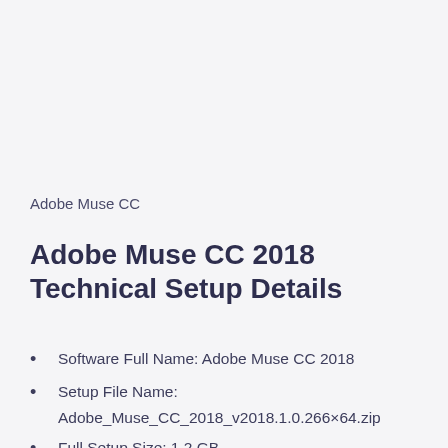Adobe Muse CC
Adobe Muse CC 2018 Technical Setup Details
Software Full Name: Adobe Muse CC 2018
Setup File Name:
Adobe_Muse_CC_2018_v2018.1.0.266×64.zip
Full Setup Size: 1.2 GB